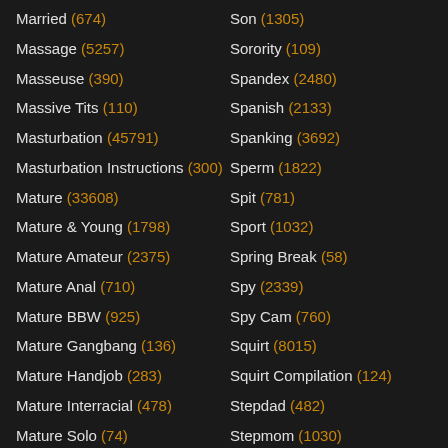Married (674)
Massage (5257)
Masseuse (390)
Massive Tits (110)
Masturbation (45791)
Masturbation Instructions (300)
Mature (33608)
Mature & Young (1798)
Mature Amateur (2375)
Mature Anal (710)
Mature BBW (925)
Mature Gangbang (136)
Mature Handjob (283)
Mature Interracial (478)
Mature Solo (74)
Mature Teacher (73)
Son (1305)
Sorority (109)
Spandex (2480)
Spanish (2133)
Spanking (3692)
Sperm (1822)
Spit (781)
Sport (1032)
Spring Break (58)
Spy (2339)
Spy Cam (760)
Squirt (8015)
Squirt Compilation (124)
Stepdad (482)
Stepmom (1030)
Stewardess (95)